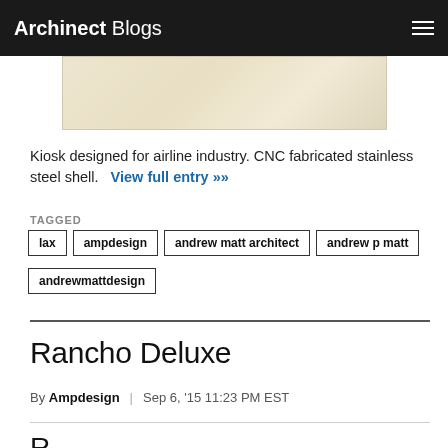Archinect Blogs
[Figure (photo): Partial image of a kiosk with a beige/cream textured surface]
Kiosk designed for airline industry. CNC fabricated stainless steel shell.   View full entry »»
TAGGED
lax
ampdesign
andrew matt architect
andrew p matt
andrewmattdesign
Rancho Deluxe
By Ampdesign | Sep 6, '15 11:23 PM EST